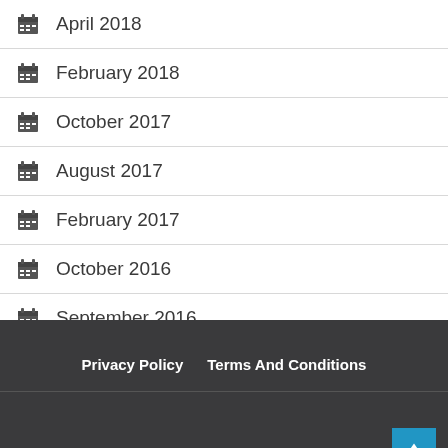April 2018
February 2018
October 2017
August 2017
February 2017
October 2016
September 2016
July 2014
Privacy Policy    Terms And Conditions